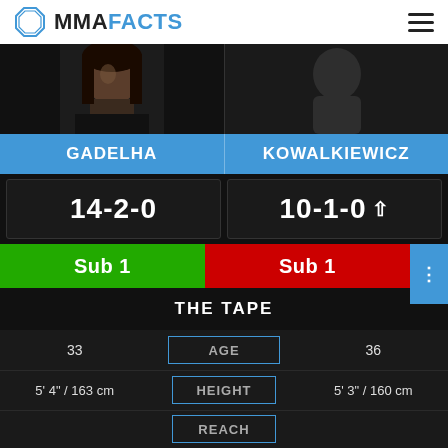MMAFACTS
[Figure (photo): Left: photo of fighter Gadelha (woman with dark hair). Right: silhouette placeholder for Kowalkiewicz.]
GADELHA | KOWALKIEWICZ
14-2-0 | 10-1-0
Sub 1 | Sub 1
THE TAPE
| GADELHA | STAT | KOWALKIEWICZ |
| --- | --- | --- |
| 33 | AGE | 36 |
| 5' 4" / 163 cm | HEIGHT | 5' 3" / 160 cm |
|  | REACH |  |